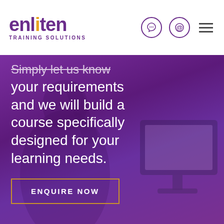enliten TRAINING SOLUTIONS
[Figure (photo): Purple-tinted photo of people at computers in a training session, with overlaid large white text and a yellow-bordered call-to-action button]
Simply let us know your requirements and we will build a course specifically designed for your learning needs.
ENQUIRE NOW